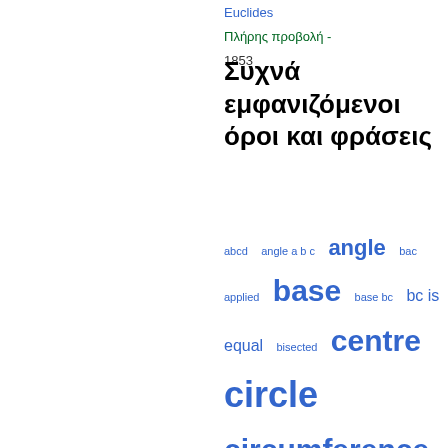Euclides
Πλήρης προβολή -
1853
Συχνά εμφανιζόμενοι όροι και φράσεις
abcd  angle a b c  angle  bac  applied  base  base bc  bc is equal  bisected  centre  circle  circumference  common  compounded  definition  demonstrated  describe  diameter  divided  double  draw  equal angles  equal to f